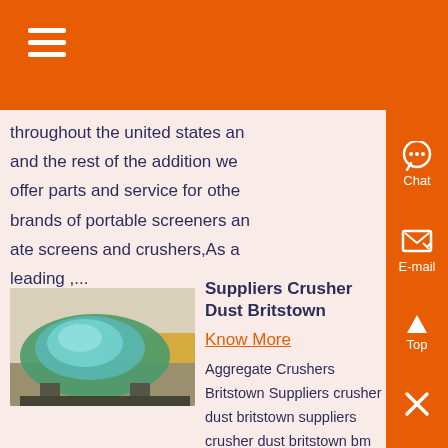[Figure (screenshot): Orange header bar with hamburger menu icon (three white horizontal lines) on the left]
throughout the united states and and the rest of the addition we offer parts and service for other brands of portable screeners and ate screens and crushers,As a leading ,...
[Figure (photo): Industrial crusher/ball mill machine, large green/teal spherical machine in a factory setting with yellow equipment in background]
Suppliers Crusher Dust Britstown
Know More
Aggregate Crushers Britstown Suppliers crusher dust britstown suppliers crusher dust britstown bm cotton mill small powder grin